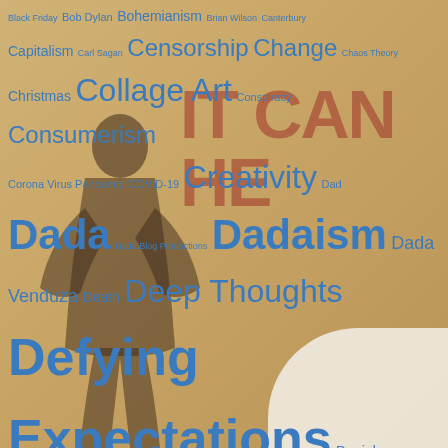[Figure (other): Tag cloud / word cloud of topics related to a blog or creative publication, displayed over a vintage-style background with a red text shadow and a dark human silhouette. Topics include Dada, Dadaism, Existential Angst, Defying Expectations, Humanism, Intraso-matic Conspiracy, and many others in varying blue font sizes.]